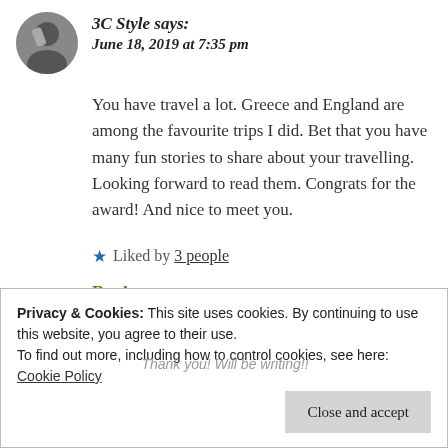3C Style says: June 18, 2019 at 7:35 pm
You have travel a lot. Greece and England are among the favourite trips I did. Bet that you have many fun stories to share about your travelling. Looking forward to read them. Congrats for the award! And nice to meet you.
★ Liked by 3 people
Reply
Privacy & Cookies: This site uses cookies. By continuing to use this website, you agree to their use.
To find out more, including how to control cookies, see here: Cookie Policy
Close and accept
Thank you! Will be writing!!